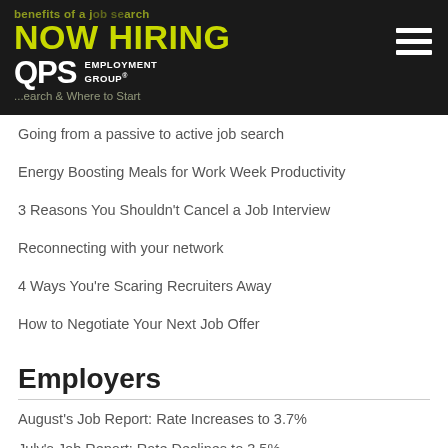NOW HIRING QPS EMPLOYMENT GROUP
Going from a passive to active job search
Energy Boosting Meals for Work Week Productivity
3 Reasons You Shouldn't Cancel a Job Interview
Reconnecting with your network
4 Ways You're Scaring Recruiters Away
How to Negotiate Your Next Job Offer
Employers
August's Job Report: Rate Increases to 3.7%
July's Job Report: Rate Declines to 3.5%